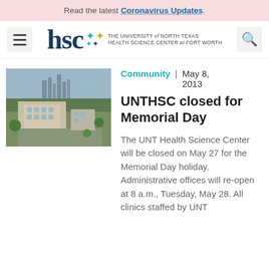Read the latest Coronavirus Updates.
[Figure (logo): HSC - The University of North Texas Health Science Center at Fort Worth logo with hamburger menu and search button]
[Figure (photo): Aerial photo of UNTHSC campus in Fort Worth, Texas]
Community   |   May 8, 2013
UNTHSC closed for Memorial Day
The UNT Health Science Center will be closed on May 27 for the Memorial Day holiday. Administrative offices will re-open at 8 a.m., Tuesday, May 28. All clinics staffed by UNT